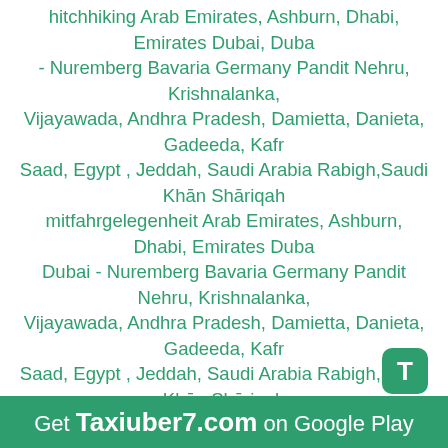hitchhiking Arab Emirates, Ashburn, Dhabi, Emirates Dubai, Dubai - Nuremberg Bavaria Germany Pandit Nehru, Krishnalanka, Vijayawada, Andhra Pradesh, Damietta, Danieta, Gadeeda, Kafr Saad, Egypt , Jeddah, Saudi Arabia Rabigh,Saudi Khān Shāriqah mitfahrgelegenheit Arab Emirates, Ashburn, Dhabi, Emirates Dubai Dubai - Nuremberg Bavaria Germany Pandit Nehru, Krishnalanka, Vijayawada, Andhra Pradesh, Damietta, Danieta, Gadeeda, Kafr Saad, Egypt , Jeddah, Saudi Arabia Rabigh,Saudi Khān Shāriqah бла бла такси Arab Emirates, Ashburn, Dhabi, Emirates Dubai, Dubai - Nuremberg Bavaria Germany Pandit Nehru, Krishnalanka, Vijayawada, Andhra Pradesh, Damietta, Danieta, Gadeeda, Kafr Saad, Egypt , Jeddah, Saudi Arabia Rabigh,Saudi Khān Shāriqah, plaplacar Arab Emirates, Ashburn, Dhabi, Emirates Dubai, Dubai - Nuremberg Bavaria Germany Pandit Nehru, Krishnalanka, Vijayawada, Andhra Pradesh, Damietta, Danieta, Gadeeda, Kafr Saad, Egypt , Jeddah, Saudi Arabia Rabigh,Saudi Khān Shāriqah блаблатакси Arab Emirates, Ashburn, Dhabi, Emirates Dubai, Dubai - Nuremberg Bavaria Germany Pandit Nehru, Krishnalanka, Vijayawada, Andhra Pradesh, Damietta, Danieta, Gadeeda, Kafr Saad, Egypt , Jeddah, Saudi Arabia Rabigh,Saudi Khān Shāriqah едем рф найти поездку как пассажир Arab Emirates, Ashburn, Dhabi, Emirates Dubai, Dubai - Nuremberg Bavaria Germany Pandit Nehru, Krishnalanka, Vijayawada, Andhra Pradesh, Damietta, Danieta, Gadeeda, Kafr Saad, Egypt , Jeddah, Saudi Arabia Rabigh,Saudi Khān Shāriqah; едем попутчики в Arab
Get Taxiuber7.com on Google Play